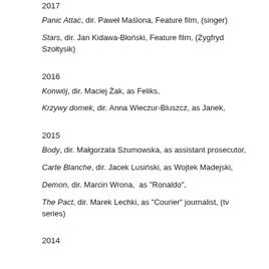2017
Panic Attac, dir. Paweł Maślona, Feature film, (singer)
Stars, dir. Jan Kidawa-Błoński, Feature film, (Zygfryd Szołtysik)
2016
Konwój, dir. Maciej Żak, as Feliks,
Krzywy domek, dir. Anna Wieczur-Bluszcz, as Janek,
2015
Body, dir. Małgorzata Szumowska, as assistant prosecutor,
Carte Blanche, dir. Jacek Lusiński, as Wojtek Madejski,
Demon, dir. Marcin Wrona,  as "Ronaldo",
The Pact, dir. Marek Lechki, as "Courier" journalist, (tv series)
2014